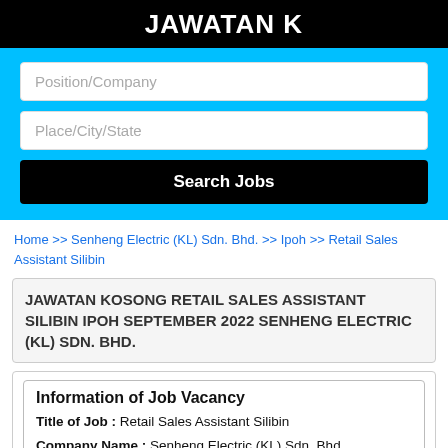JAWATAN K
[Figure (screenshot): Search form with two input fields (Position/Company, Place/City/State) and a Search Jobs button on a cyan background]
Home >> Senheng Electric (KL) Sdn. Bhd. >> Ipoh >> Retail Sales Assistant Silibin
JAWATAN KOSONG RETAIL SALES ASSISTANT SILIBIN IPOH SEPTEMBER 2022 SENHENG ELECTRIC (KL) SDN. BHD.
Information of Job Vacancy
Title of Job : Retail Sales Assistant Silibin
Company Name : Senheng Electric (KL) Sdn. Bhd.
Placement : Ipoh
Date : 10 Jun 2022